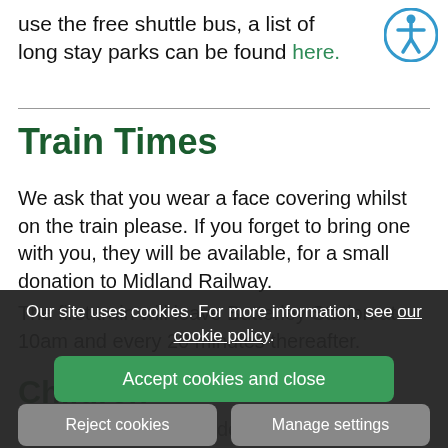use the free shuttle bus, a list of long stay parks can be found here.
[Figure (illustration): Accessibility icon — blue circle with white figure in arms-out pose]
Train Times
We ask that you wear a face covering whilst on the train please. If you forget to bring one with you, they will be available, for a small donation to Midland Railway.
Our site uses cookies. For more information, see our cookie policy.
The first train will leave Butterley Station at 10am and every 20 minutes thereafter.
Children
No child or children under the age of 10 will